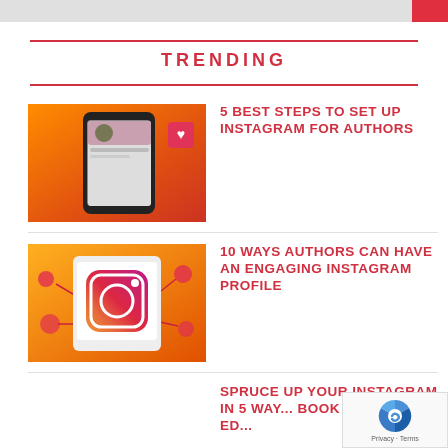TRENDING
[Figure (photo): Smartphone showing Instagram profile screen on an orange background]
5 BEST STEPS TO SET UP INSTAGRAM FOR AUTHORS
[Figure (photo): Tablet showing Instagram logo on an orange background with social media icons]
10 WAYS AUTHORS CAN HAVE AN ENGAGING INSTAGRAM PROFILE
SPRUCE UP YOUR INSTAGRAM IN 5 WAY... BOOK PUBLISHERS ED...